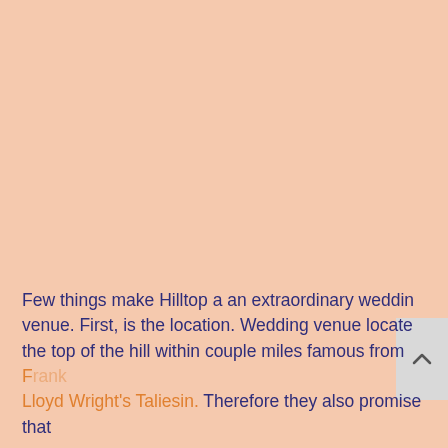Few things make Hilltop a an extraordinary wedding venue. First, is the location. Wedding venue located the top of the hill within couple miles famous from Frank Lloyd Wright's Taliesin. Therefore they also promise that